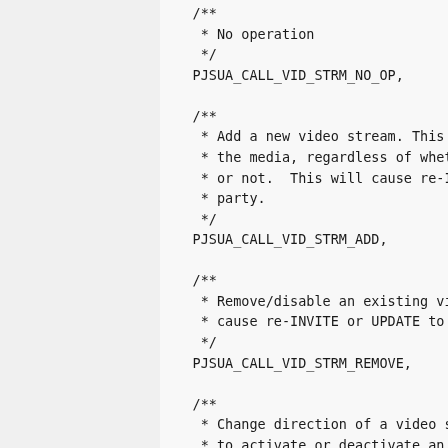/**
 * No operation
 */
PJSUA_CALL_VID_STRM_NO_OP,

/**
 * Add a new video stream. This will ad
 * the media, regardless of whether exi
 * or not.  This will cause re-INVITE o
 * party.
 */
PJSUA_CALL_VID_STRM_ADD,

/**
 * Remove/disable an existing video str
 * cause re-INVITE or UPDATE to be sent
 */
PJSUA_CALL_VID_STRM_REMOVE,

/**
 * Change direction of a video stream.
 * to activate or deactivate an existin
 * cause re-INVITE or UPDATE to be sent
 */
PJSUA_CALL_VID_STRM_CHANGE_DIR,

/**
 * Change capture device of a video str
 * re-INVITE or UPDATE to remote party.
 */